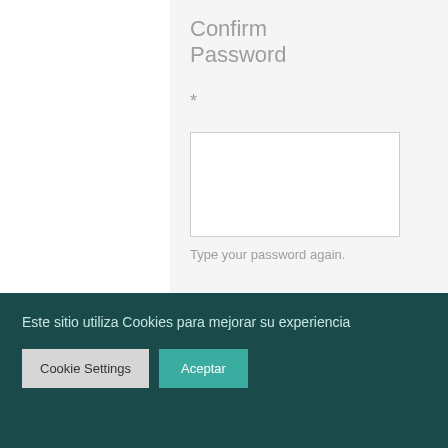Confirm Password
*
[Figure (screenshot): Empty password input text field with border]
Type your password again.
Nombre *
Este sitio utiliza Cookies para mejorar su experiencia
Cookie Settings
Aceptar